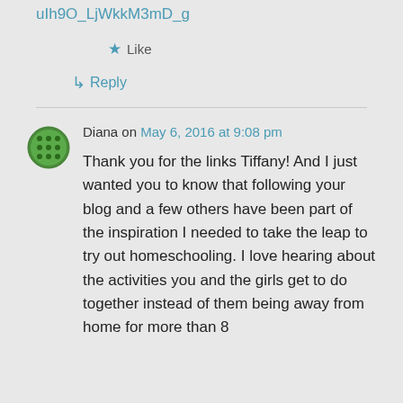uIh9O_LjWkkM3mD_g
Like
Reply
Diana on May 6, 2016 at 9:08 pm
Thank you for the links Tiffany! And I just wanted you to know that following your blog and a few others have been part of the inspiration I needed to take the leap to try out homeschooling. I love hearing about the activities you and the girls get to do together instead of them being away from home for more than 8